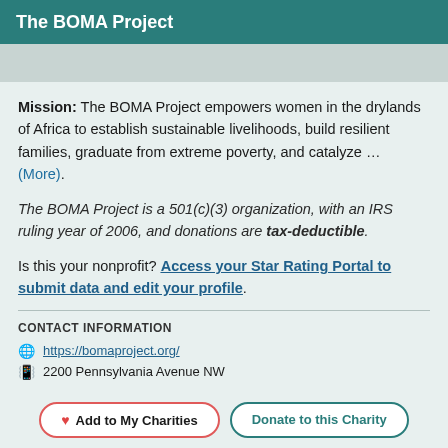The BOMA Project
Mission: The BOMA Project empowers women in the drylands of Africa to establish sustainable livelihoods, build resilient families, graduate from extreme poverty, and catalyze … (More).
The BOMA Project is a 501(c)(3) organization, with an IRS ruling year of 2006, and donations are tax-deductible.
Is this your nonprofit? Access your Star Rating Portal to submit data and edit your profile.
CONTACT INFORMATION
https://bomaproject.org/
2200 Pennsylvania Avenue NW